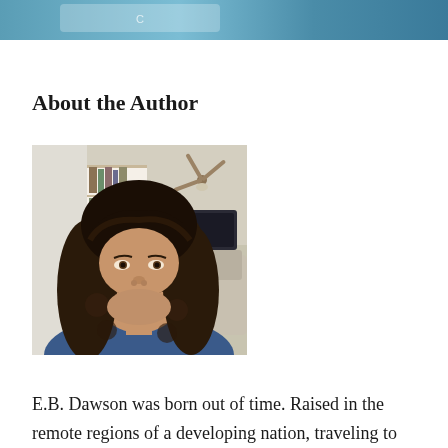[Figure (photo): Top banner image showing a blue/teal background with partial text visible]
About the Author
[Figure (photo): Portrait photograph of a woman with long curly dark brown hair, smiling slightly, in a home interior setting with bookshelves and a ceiling fan visible in the background]
E.B. Dawson was born out of time. Raised in the remote regions of a developing nation, traveling to